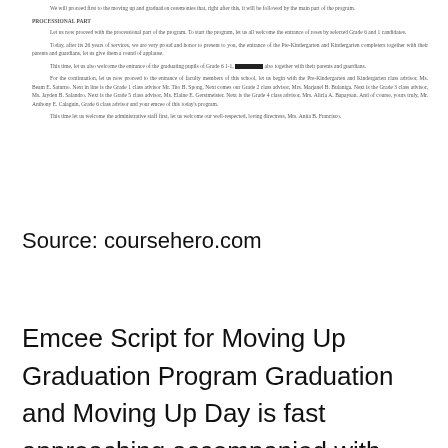We will proceed first to the moving up and graduation ceremonies that, right after this, it will be followed by the main part of the program.
PROCESSIONAL PART
Let us now proceed with the processional part of the program. To start the program, let us all welcome the entrance of roses by selected Grade 6 and 1 candidates.
Today, after its 26 years of services, we are very proud and honor to present to you the entrance of the Pre-Kindergarten and Kindergarten completers together with their parents and guardians, let us give them a round of applause.
This time, let us also welcome the entrance of the graduating pupils of Grade 6 1-1, [REDACTED] also together with their parents and guardians.
For the continuation, let us now proceed to the entrance of faculty members of this school, let us begin with the Pre-Kindergarten and Kindergarten class advisor, Ms. Beam E. Saturno. Next in line is the Grade 1 class advisor Mr. Tito B. Spong. Next comes our Grade 2 class advisor, Mrs. Marjanel B. Bulaniga. Next is the Grade 3 class advisor, Ms. Jayden B. Salandro. Next is the Grade 5 class advisor, Ms. Elaine E. Gerstmeister. Next is the Grade 4 class advisor, Mrs. Alicia A. Bapaysan. And of course, yours truly, Mr. Anthony E. Calaguin, Grade 6 class advisor and your emcee of this today's program.
This time let us welcome the administrative staff first, let us welcome our well-respected, loving directress, Mrs. Anita B. Francisco.
Source: coursehero.com
Emcee Script for Moving Up Graduation Program Graduation and Moving Up Day is fast approaching accompanied with large